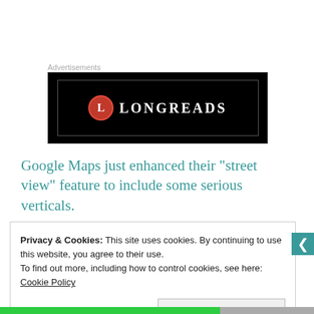Advertisements
[Figure (logo): Longreads advertisement banner with black background, red circle logo with 'L' and white text 'LONGREADS']
Google Maps just enhanced their "street view" feature to include some serious verticals.
Privacy & Cookies: This site uses cookies. By continuing to use this website, you agree to their use.
To find out more, including how to control cookies, see here: Cookie Policy
Close and accept